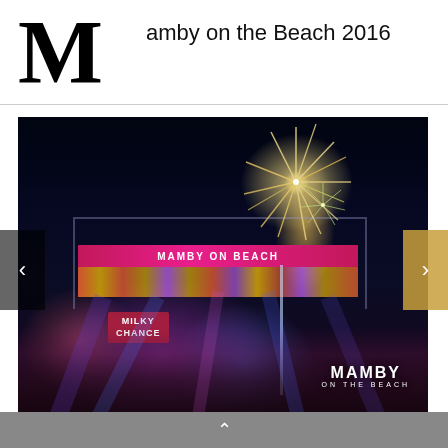M  amby on the Beach 2016
[Figure (photo): Concert photo from Mamby on the Beach 2016. A night-time outdoor music festival stage with 'MAMBY ON BEACH' banner, colorful stage lights in pink, blue and purple. The band 'Milky Chance' is performing on stage. A large fireworks burst illuminates the dark sky above a tall palm tree. Crowd visible in the foreground. Mamby on the Beach watermark logo in bottom right corner.]